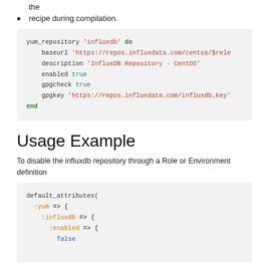the
recipe during compilation.
[Figure (screenshot): Code block showing yum_repository 'influxdb' do with baseurl, description, enabled, gpgcheck, gpgkey fields and end keyword]
Usage Example
To disable the influxdb repository through a Role or Environment definition
[Figure (screenshot): Code block showing default_attributes( :yum => { :influxdb => { :enabled => { false]